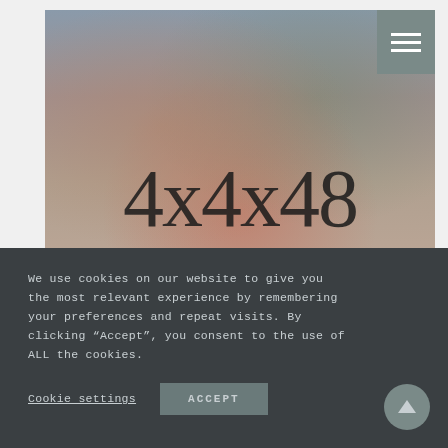[Figure (photo): Hero banner photo showing hands working with food/objects, used as background for 4x4x48 Challenge heading. A hamburger menu icon appears in the top-right corner over a grey-green square.]
4x4x48 CHALLENGE
We use cookies on our website to give you the most relevant experience by remembering your preferences and repeat visits. By clicking “Accept”, you consent to the use of ALL the cookies.
Cookie settings   ACCEPT